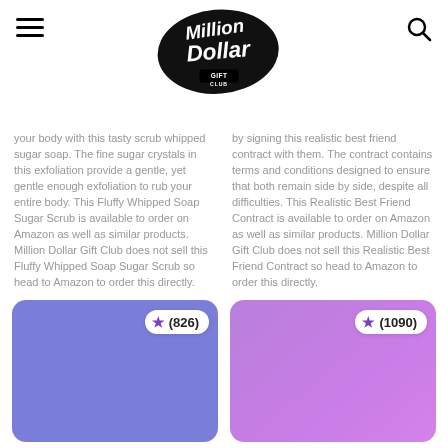Million Dollar Gift Club
your body with this tasty scrub by signing this realistic best whipped sugar soap. The fine sugar friend contract with them. The crystals in this exfoliation provide a contract contains terms and gentle, yet gentle enough conditions designed to ensure that exfoliation to rub your entire body. both remain side by side, despite all This Fluffy Whipped Soap Sugar difficulties. This Realistic Best Scrub is available to order on Friend Contract is available to order Amazon as well as similar products. on Amazon as well as similar Million Dollar Gift Club does not sell products. Million Dollar Gift Club this Fluffy Whipped Soap Sugar does not sell this Realistic Best Scrub so head to Amazon to order Friend Contract so head to Amazon this directly. to order this directly.
[Figure (photo): Product image placeholder - blue/purple card with star rating badge showing (826)]
[Figure (photo): Product image placeholder - purple gradient card with star rating badge showing (1090)]
Toast Heated Pillow
Back To The Kitchen Shirt